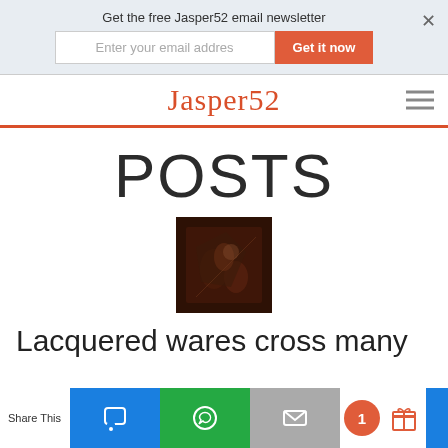Get the free Jasper52 email newsletter
Enter your email addres
Get it now
Jasper52
POSTS
[Figure (photo): Small thumbnail image showing a dark brown painting with figures, possibly classical or Asian art]
Lacquered wares cross many
Share This